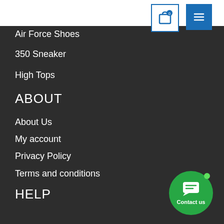[Figure (screenshot): Top navigation bar with white background, a cart icon button with '0' badge and a blue hamburger menu button]
Air Force Shoes
350 Sneaker
High Tops
ABOUT
About Us
My account
Privacy Policy
Terms and conditions
HELP
Contact Us
FAQs
Shipping & Delivery
[Figure (illustration): Green circular contact button with chat icon and 'Contact us' label and a green dot indicator]